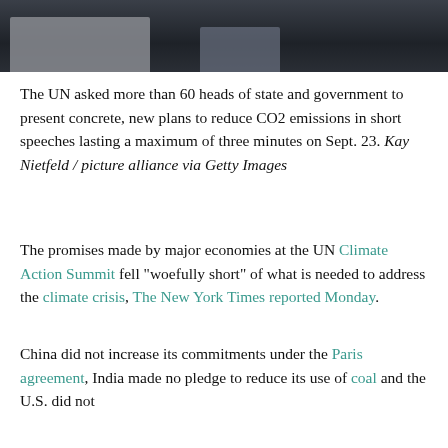[Figure (photo): Photograph of a UN event, dark background showing what appears to be chairs or furniture, providing context for the UN Climate Action Summit.]
The UN asked more than 60 heads of state and government to present concrete, new plans to reduce CO2 emissions in short speeches lasting a maximum of three minutes on Sept. 23. Kay Nietfeld / picture alliance via Getty Images
The promises made by major economies at the UN Climate Action Summit fell “woefully short” of what is needed to address the climate crisis, The New York Times reported Monday.
China did not increase its commitments under the Paris agreement, India made no pledge to reduce its use of coal and the U.S. did not